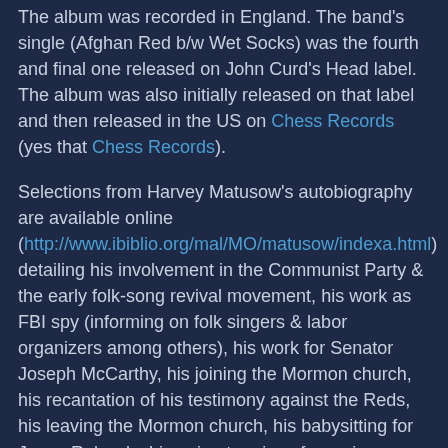The album was recorded in England. The band's single (Afghan Red b/w Wet Socks) was the fourth and final one released on John Curd's Head label. The album was also initially released on that label and then released in the US on Chess Records (yes that Chess Records).
Selections from Harvey Matusow's autobiography are available online (http://www.ibiblio.org/mal/MO/matusow/indexa.html) detailing his involvement in the Communist Party & the early folk-song revival movement, his work as FBI spy (informing on folk singers & labor organizers among others), his work for Senator Joseph McCarthy, his joining the Mormon church, his recantation of his testimony against the Reds, his leaving the Mormon church, his babysitting for Jason Robards, his going to prison for perjury (where he got to know Willhelm Reich and Frank Costello), his involvement with the beat scene, his working for the East Village Other, his meeting Timothy Leary & taking LSD, his turning Bobby Kennedy onto acid, his hanging out with Dick Gregory at the Improv in NY, his making movies with Yoko Ono (and involvement with the Fluxus group), and his writing a book